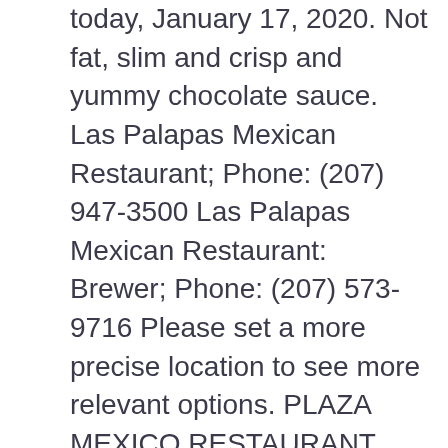today, January 17, 2020. Not fat, slim and crisp and yummy chocolate sauce. Las Palapas Mexican Restaurant; Phone: (207) 947-3500 Las Palapas Mexican Restaurant: Brewer; Phone: (207) 573-9716 Please set a more precise location to see more relevant options. PLAZA MEXICO RESTAURANT BAR & GRILL | 2390 Tamiami Trail, Port Charlotte, FL 33952 | 941-391-5319 Tacos. Good luck guys Call (509) 559-5220 View Menu Get directions Get Quote WhatsApp (509) 559-5220 Message (509) 559-5220 Contact Us Find Table Make Appointment Place Order. 10598 Middleport Lane White Plains, MD 20695, WHITE PLAINS, MARYLAND, USA, 20695 . Chinita Real